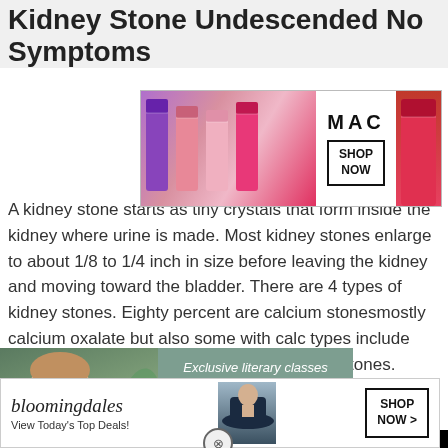Kidney Stone Undescended No Symptoms
[Figure (photo): MAC cosmetics advertisement showing colorful lipsticks with 'SHOP NOW' button]
A kidney stone starts as tiny crystals that form inside the kidney where urine is made. Most kidney stones enlarge to about 1/8 to 1/4 inch in size before leaving the kidney and moving toward the bladder. There are 4 types of kidney stones. Eighty percent are calcium stonesmostly calcium oxalate but also some with calc... types include uric acid stones, s... cystine stones.
[Figure (photo): Black video overlay panel]
[Figure (photo): Taro Classroom advertisement - Exclusive literary classes for teen writers]
[Figure (photo): Bloomingdales advertisement - View Today's Top Deals - SHOP NOW]